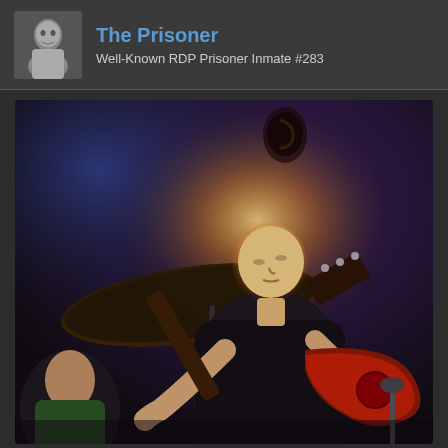The Prisoner
Well-Known RDP Prisoner Inmate #283
[Figure (photo): A musician playing an electric guitar on stage. The performer is wearing a black t-shirt and leaning back with eyes closed. A large cymbal is visible to the left. The stage has dark purple/blue lighting. Another musician is partially visible on the left edge.]